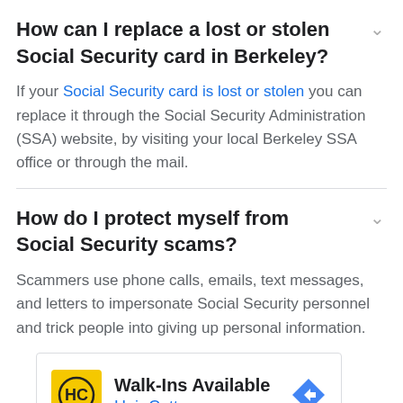How can I replace a lost or stolen Social Security card in Berkeley?
If your Social Security card is lost or stolen you can replace it through the Social Security Administration (SSA) website, by visiting your local Berkeley SSA office or through the mail.
How do I protect myself from Social Security scams?
Scammers use phone calls, emails, text messages, and letters to impersonate Social Security personnel and trick people into giving up personal information.
[Figure (other): Advertisement for Hair Cuttery: Walk-Ins Available, with logo and navigation arrow icon]